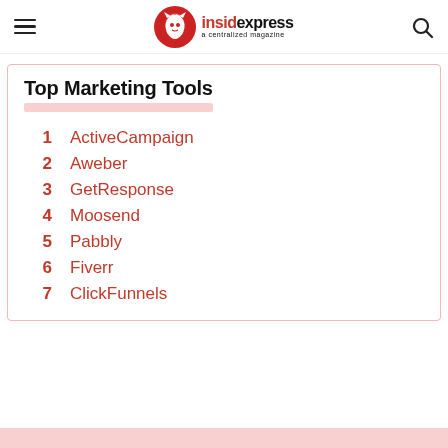insidexpress — a centralized magazine
Top Marketing Tools
1  ActiveCampaign
2  Aweber
3  GetResponse
4  Moosend
5  Pabbly
6  Fiverr
7  ClickFunnels